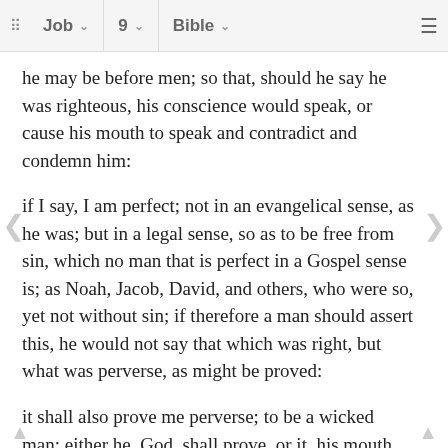Job 9 Bible
he may be before men; so that, should he say he was righteous, his conscience would speak, or cause his mouth to speak and contradict and condemn him:
if I say, I am perfect; not in an evangelical sense, as he was; but in a legal sense, so as to be free from sin, which no man that is perfect in a Gospel sense is; as Noah, Jacob, David, and others, who were so, yet not without sin; if therefore a man should assert this, he would not say that which was right, but what was perverse, as might be proved:
it shall also prove me perverse; to be a wicked man; either he, God, shall prove, or it, his mouth, as in the preceding clause; for to say this is to tell a lie, which to do is perverseness, see 1 John 1:8.